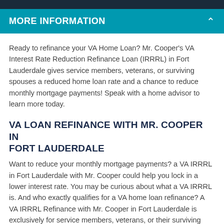MORE INFORMATION
Ready to refinance your VA Home Loan? Mr. Cooper's VA Interest Rate Reduction Refinance Loan (IRRRL) in Fort Lauderdale gives service members, veterans, or surviving spouses a reduced home loan rate and a chance to reduce monthly mortgage payments! Speak with a home advisor to learn more today.
VA LOAN REFINANCE WITH MR. COOPER IN FORT LAUDERDALE
Want to reduce your monthly mortgage payments? a VA IRRRL in Fort Lauderdale with Mr. Cooper could help you lock in a lower interest rate. You may be curious about what a VA IRRRL is. And who exactly qualifies for a VA home loan refinance? A VA IRRRL Refinance with Mr. Cooper in Fort Lauderdale is exclusively for service members, veterans, or their surviving spouse who already have a VA loan. How a VA IRRRL works: your current mortgage through your VA Home Loan is refinanced into another loan with